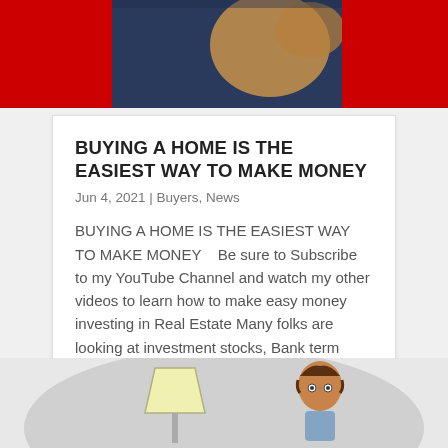[Figure (photo): Top banner image with red background and a person in a dark blazer, partially cropped]
BUYING A HOME IS THE EASIEST WAY TO MAKE MONEY
Jun 4, 2021  |  Buyers, News
BUYING A HOME IS THE EASIEST WAY TO MAKE MONEY    Be sure to Subscribe to my YouTube Channel and watch my other videos to learn how to make easy money investing in Real Estate Many folks are looking at investment stocks, Bank term deposit's etc  hoping to see...
read more
[Figure (illustration): Cartoon illustration of a person at a desk with a lamp, on a gray oval background, partially visible at bottom of page]